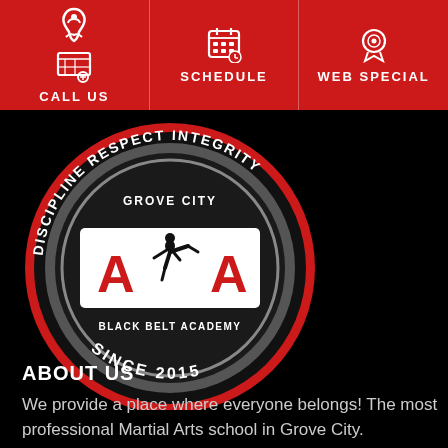CALL US | SCHEDULE | WEB SPECIAL
[Figure (logo): Grove City ATA Black Belt Academy circular logo with text DISCIPLINE RESPECT INTEGRITY around the border, ATA martial arts logo in center, GROVE CITY at top, BLACK BELT ACADEMY at bottom, SINCE 2015 at bottom arc. Red, black and grey color scheme.]
ABOUT US
We provide a place where everyone belongs! The most professional Martial Arts school in Grove City.